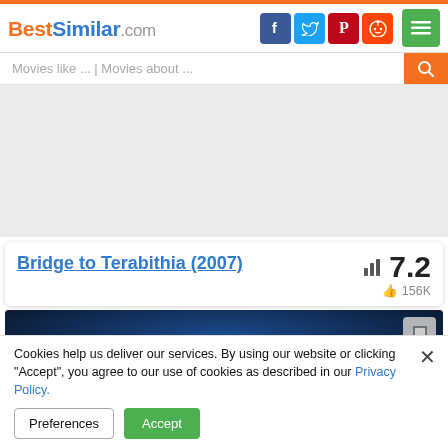BestSimilar.com
Movies like ... | Movies about ...
[Figure (screenshot): Gray advertisement placeholder area]
Bridge to Terabithia (2007)
7.2 — 156K likes
[Figure (photo): Movie still from Bridge to Terabithia showing dark forest/tree scene at night with blue tones]
Cookies help us deliver our services. By using our website or clicking "Accept", you agree to our use of cookies as described in our Privacy Policy.
Preferences   Accept